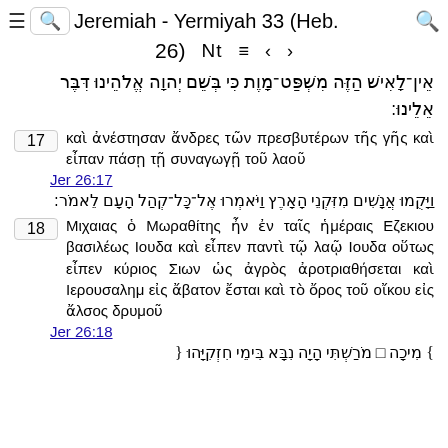≡  Jeremiah - Yermiyah 33 (Heb. 26)  🔃 ≡ ‹ ›  🔍
אֵין־לָאִישׁ הַזֶּה מִשְׁפַּט־מָוֶת כִּי בְּשֵׁם יְהוָה אֱלֹהֵינוּ דִּבֶּר אֵלֵינוּ׃
17  καὶ ἀνέστησαν ἄνδρες τῶν πρεσβυτέρων τῆς γῆς καὶ εἶπαν πάσῃ τῇ συναγωγῇ τοῦ λαοῦ
Jer 26:17
וַיָּקֻמוּ אֲנָשִׁים מִזִּקְנֵי הָאָרֶץ וַיֹּאמְרוּ אֶל־כָּל־קְהַל הָעָם לֵאמֹר׃
18  Μιχαιας ὁ Μωραθίτης ἦν ἐν ταῖς ἡμέραις Εζεκιου βασιλέως Ιουδα καὶ εἶπεν παντὶ τῷ λαῷ Ιουδα οὕτως εἶπεν κύριος Σιων ὡς ἀγρὸς ἀροτριαθήσεται καὶ Ιερουσαλημ εἰς ἄβατον ἔσται καὶ τὸ ὄρος τοῦ οἴκου εἰς ἄλσος δρυμοῦ
Jer 26:18
} מִיכָה ה מֹרַשְׁתִּי הָיָה נִבָּא בִּימֵי חִזְקִיָּהוּ {